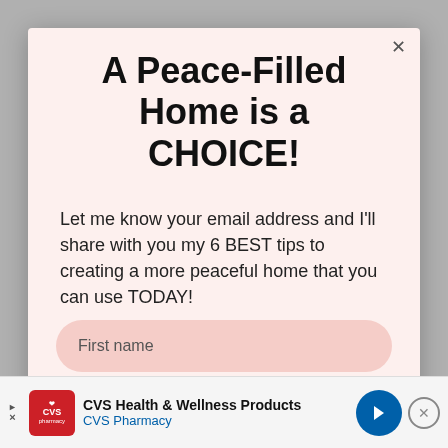A Peace-Filled Home is a CHOICE!
Let me know your email address and I'll share with you my 6 BEST tips to creating a more peaceful home that you can use TODAY!
First name
Email address
CVS Health & Wellness Products
CVS Pharmacy